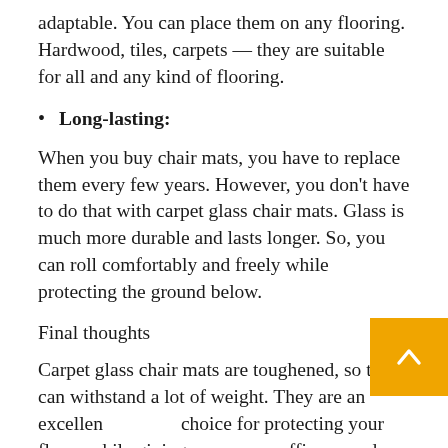adaptable. You can place them on any flooring. Hardwood, tiles, carpets — they are suitable for all and any kind of flooring.
Long-lasting:
When you buy chair mats, you have to replace them every few years. However, you don't have to do that with carpet glass chair mats. Glass is much more durable and lasts longer. So, you can roll comfortably and freely while protecting the ground below.
Final thoughts
Carpet glass chair mats are toughened, so they can withstand a lot of weight. They are an excellent choice for protecting your floors while giving your office a modern look.